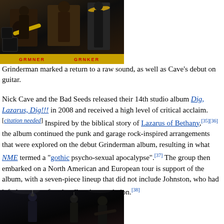[Figure (photo): Photo of Grinderman performing on stage, musicians with guitars and drums, yellow banner with red text at bottom]
Grinderman marked a return to a raw sound, as well as Cave's debut on guitar.
Nick Cave and the Bad Seeds released their 14th studio album Dig, Lazarus, Dig!!! in 2008 and received a high level of critical acclaim.[citation needed] Inspired by the biblical story of Lazarus of Bethany,[35][36] the album continued the punk and garage rock-inspired arrangements that were explored on the debut Grinderman album, resulting in what NME termed a "gothic psycho-sexual apocalypse".[37] The group then embarked on a North American and European tour is support of the album, with a seven-piece lineup that did not include Johnston, who had left the group after the album's completion.[38]
[Figure (photo): Photo of Nick Cave and the Bad Seeds performing on stage, dark venue with performers at microphones]